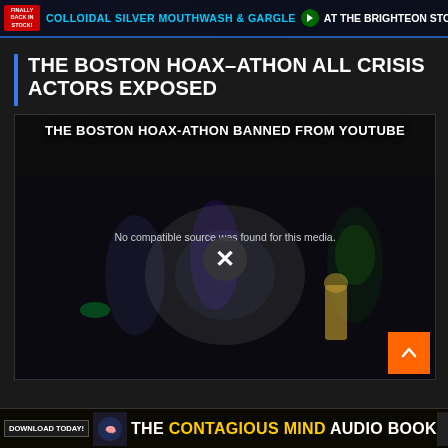[Figure (other): Top advertisement banner: COLLOIDAL SILVER MOUTHWASH & GARGLE AT THE BRIGHTEON STORE]
THE BOSTON HOAX-ATHON ALL CRISIS ACTORS EXPOSED
[Figure (screenshot): Video player showing 'THE BOSTON HOAX-ATHON BANNED FROM YOUTUBE' with error message 'No compatible source was found for this media.' and an X close button. Background shows marathon runners with cartoon characters, smoke canister, and Oscar statue overlaid. Orange scroll-to-top button in bottom right.]
[Figure (other): Bottom advertisement banner: DOWNLOAD TODAY! THE CONTAGIOUS MIND AUDIO BOOK]